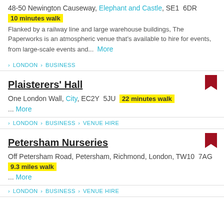48-50 Newington Causeway, Elephant and Castle, SE1 6DR
10 minutes walk
Flanked by a railway line and large warehouse buildings, The Paperworks is an atmospheric venue that's available to hire for events, from large-scale events and... More
> LONDON > BUSINESS
Plaisterers' Hall
One London Wall, City, EC2Y 5JU  22 minutes walk
... More
> LONDON > BUSINESS > VENUE HIRE
Petersham Nurseries
Off Petersham Road, Petersham, Richmond, London, TW10 7AG
9.3 miles walk
... More
> LONDON > BUSINESS > VENUE HIRE